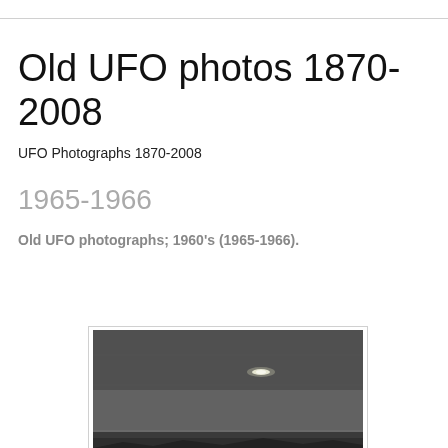Old UFO photos 1870-2008
UFO Photographs 1870-2008
1965-1966
Old UFO photographs; 1960's (1965-1966).
[Figure (photo): Black and white photograph showing a dark sky with a small bright elongated light object (UFO) visible against the dark background, with a dark landscape silhouette at the bottom.]